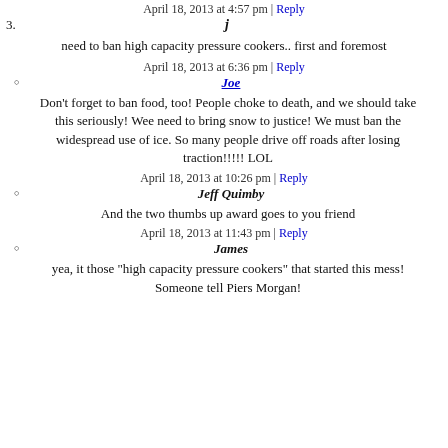April 18, 2013 at 4:57 pm | Reply
3.
j
need to ban high capacity pressure cookers.. first and foremost
April 18, 2013 at 6:36 pm | Reply
Joe
Don't forget to ban food, too! People choke to death, and we should take this seriously! Wee need to bring snow to justice! We must ban the widespread use of ice. So many people drive off roads after losing traction!!!!! LOL
April 18, 2013 at 10:26 pm | Reply
Jeff Quimby
And the two thumbs up award goes to you friend
April 18, 2013 at 11:43 pm | Reply
James
yea, it those "high capacity pressure cookers" that started this mess! Someone tell Piers Morgan!